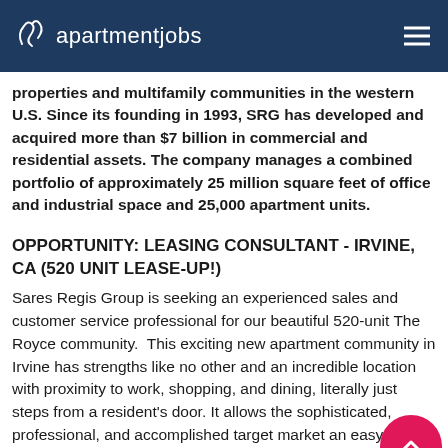apartmentjobs
properties and multifamily communities in the western U.S. Since its founding in 1993, SRG has developed and acquired more than $7 billion in commercial and residential assets. The company manages a combined portfolio of approximately 25 million square feet of office and industrial space and 25,000 apartment units.
OPPORTUNITY: LEASING CONSULTANT - IRVINE, CA (520 UNIT LEASE-UP!)
Sares Regis Group is seeking an experienced sales and customer service professional for our beautiful 520-unit The Royce community.  This exciting new apartment community in Irvine has strengths like no other and an incredible location with proximity to work, shopping, and dining, literally just steps from a resident's door. It allows the sophisticated, professional, and accomplished target market an easy